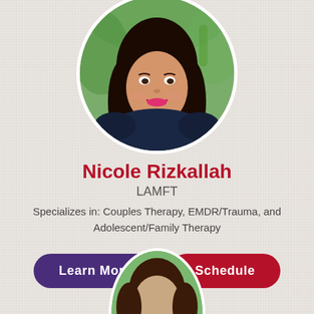[Figure (photo): Circular profile photo of Nicole Rizkallah, a woman with long dark hair, wearing a dark top, smiling, photographed outdoors with greenery in background.]
Nicole Rizkallah
LAMFT
Specializes in: Couples Therapy, EMDR/Trauma, and Adolescent/Family Therapy
Learn More
Schedule
[Figure (photo): Partial circular profile photo of a second therapist, visible only at bottom of page, showing top of head with brown hair, outdoors with green background.]